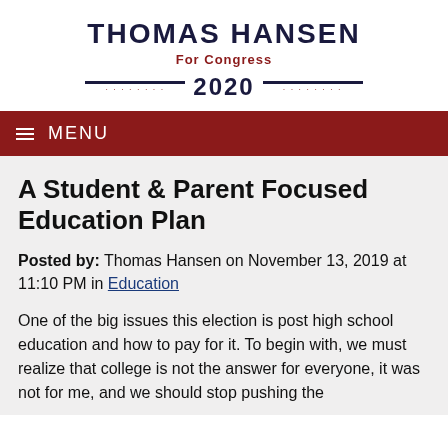THOMAS HANSEN
For Congress
2020
MENU
A Student & Parent Focused Education Plan
Posted by: Thomas Hansen on November 13, 2019 at 11:10 PM in Education
One of the big issues this election is post high school education and how to pay for it. To begin with, we must realize that college is not the answer for everyone, it was not for me, and we should stop pushing the